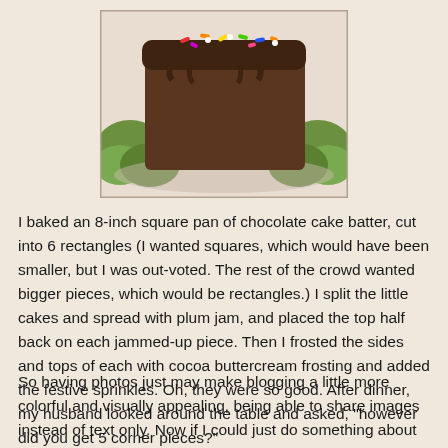[Figure (photo): A chocolate frosted rectangular cake piece with colorful sprinkles on top, placed on a decorative plate with green garnish around it.]
I baked an 8-inch square pan of chocolate cake batter, cut into 6 rectangles (I wanted squares, which would have been smaller, but I was out-voted. The rest of the crowd wanted bigger pieces, which would be rectangles.) I split the little cakes and spread with plum jam, and placed the top half back on each jammed-up piece. Then I frosted the sides and tops of each with cocoa buttercream frosting and added the festive sprinkles. Oh, they were so good. After dinner, my husband looked around the table and asked, "however did you get 5 corner pieces?"
So having photos just may make blogging a little more colorful and visually appealing, being able to share images instead of text only. Now if I could just do something about my lacking photography skills!